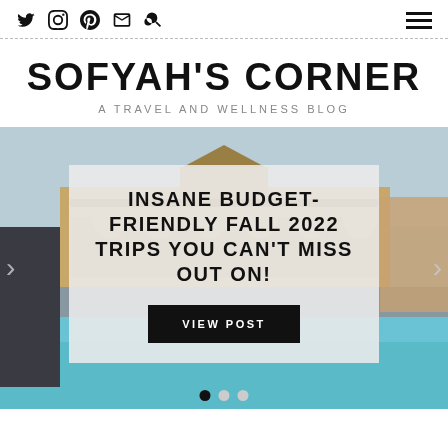Navigation bar with social icons (Twitter, Instagram, Pinterest, Email, Search) and hamburger menu
SOFYAH'S CORNER
A TRAVEL AND WELLNESS BLOG
[Figure (photo): Hero image of a grand European bath house building (Széchenyi Baths, Budapest) with blue thermal pool water in foreground, overcast sky. An overlay card shows the article title and a call-to-action button. Carousel navigation arrows on left and right, and dot indicators at bottom.]
INSANE BUDGET-FRIENDLY FALL 2022 TRIPS YOU CAN'T MISS OUT ON!
VIEW POST